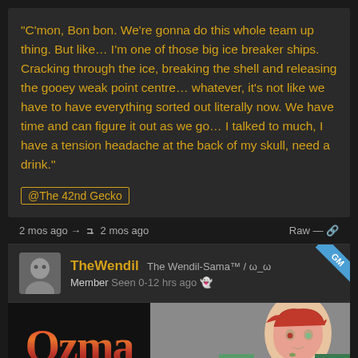“C’mon, Bon bon. We’re gonna do this whole team up thing. But like… I’m one of those big ice breaker ships. Cracking through the ice, breaking the shell and releasing the gooey weak point centre… whatever, it’s not like we have to have everything sorted out literally now. We have time and can figure it out as we go… I talked to much, I have a tension headache at the back of my skull, need a drink.”
@The 42nd Gecko
2 mos ago → ✏ 2 mos ago
Raw — 🔗
TheWendil The Wendil-Sama™ / ω_ω
Member Seen 0-12 hrs ago 👻
[Figure (screenshot): Image showing 'Ozma' stylized text logo in red/orange gradient on black background, and an anime-style character with red hair and green skin on grey background with navigation arrows]